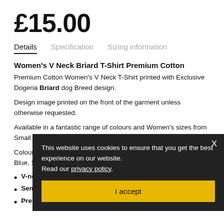£15.00
Details  Specification  Sizing information
Women's V Neck Briard T-Shirt Premium Cotton
Premium Cotton Women's V Neck T-Shirt printed with Exclusive Dogeria Briard dog Breed design.
Design image printed on the front of the garment unless otherwise requested.
Available in a fantastic range of colours and Women's sizes from Small to XXL
Colours, Black, Pink, Yellow, Light Blue, Navy Blue, Red, Royal Blue, Sport Grey & White.
V-neck t-shirt
Semi-fitted contoured silhouette
Pre-shrunk Jersey knit
This website uses cookies to ensure that you get the best experience on our website. Read our privacy policy.
I accept